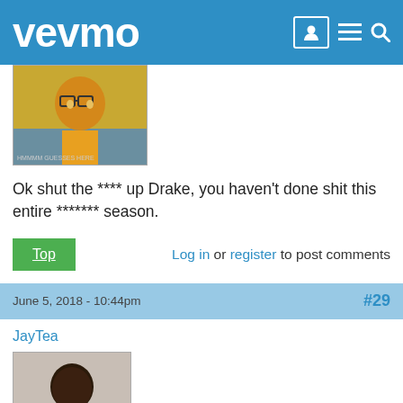vevmo
[Figure (photo): Cartoon avatar image with glasses and orange/yellow tones]
Ok shut the **** up Drake, you haven't done shit this entire ******* season.
Top   Log in or register to post comments
June 5, 2018 - 10:44pm   #29
JayTea
[Figure (photo): Profile photo of a young Black man in a white shirt]
Lol I agree why were Casper and Louise not called up